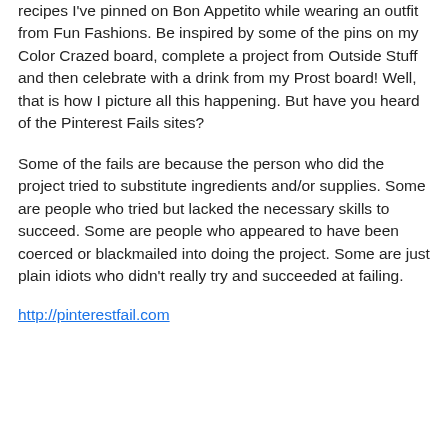I can't wait to taste some of the yummy and pretty looking recipes I've pinned on Bon Appetito while wearing an outfit from Fun Fashions. Be inspired by some of the pins on my Color Crazed board, complete a project from Outside Stuff and then celebrate with a drink from my Prost board! Well, that is how I picture all this happening. But have you heard of the Pinterest Fails sites?
Some of the fails are because the person who did the project tried to substitute ingredients and/or supplies. Some are people who tried but lacked the necessary skills to succeed. Some are people who appeared to have been coerced or blackmailed into doing the project. Some are just plain idiots who didn't really try and succeeded at failing.
http://pinterestfail.com